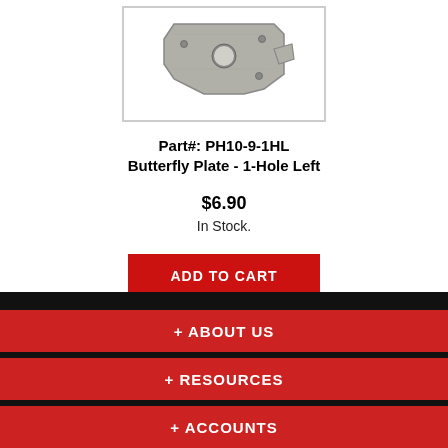[Figure (photo): Metal butterfly plate part, 1-Hole Left, gray steel, irregular shape with holes]
Part#: PH10-9-1HL
Butterfly Plate - 1-Hole Left
$6.90
In Stock.
ADD TO CART
+ ABOUT US
+ RESOURCES
+ ACCOUNTS